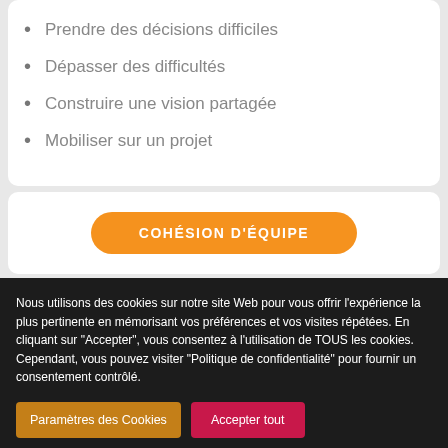Prendre des décisions difficiles
Dépasser des difficultés
Construire une vision partagée
Mobiliser sur un projet
COHÉSION D'ÉQUIPE
Nous utilisons des cookies sur notre site Web pour vous offrir l'expérience la plus pertinente en mémorisant vos préférences et vos visites répétées. En cliquant sur "Accepter", vous consentez à l'utilisation de TOUS les cookies. Cependant, vous pouvez visiter "Politique de confidentialité" pour fournir un consentement contrôlé.
Paramètres des Cookies
Accepter tout